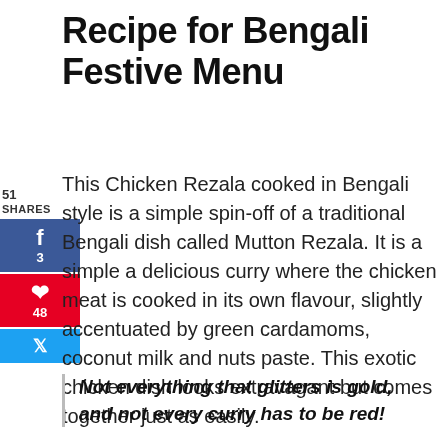Recipe for Bengali Festive Menu
This Chicken Rezala cooked in Bengali style is a simple spin-off of a traditional Bengali dish called Mutton Rezala. It is a simple a delicious curry where the chicken meat is cooked in its own flavour, slightly accentuated by green cardamoms, coconut milk and nuts paste. This exotic chicken dish looks extravagant but comes together just as easily.
Not everything that glitters is gold, and not every curry has to be red!